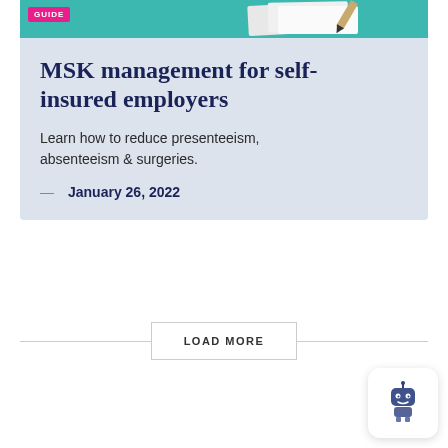[Figure (illustration): Top banner of a card with teal background and a pink GUIDE badge label on the left, with what appears to be paper/document illustration on the right side]
MSK management for self-insured employers
Learn how to reduce presenteeism, absenteeism & surgeries.
— January 26, 2022
LOAD MORE
[Figure (illustration): Small robot/chatbot icon in a white rounded square box at bottom right corner]